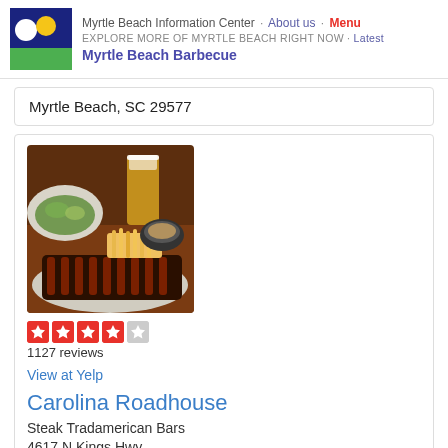Myrtle Beach Information Center · About us · Menu
EXPLORE MORE OF MYRTLE BEACH RIGHT NOW · Latest
Myrtle Beach Barbecue
Myrtle Beach, SC 29577
[Figure (photo): Photo of BBQ ribs on a plate with fries, a beer glass, and side dishes on a wooden table]
1127 reviews
View at Yelp
Carolina Roadhouse
Steak Tradamerican Bars
4617 N Kings Hwy